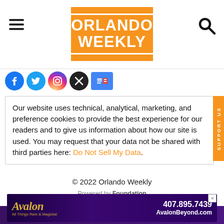[Figure (logo): Orlando Weekly logo: orange background with white bold text reading ORLANDO WEEKLY in a white-bordered box]
[Figure (infographic): Row of social media icons: Facebook, Twitter, Instagram, X, Google News]
Our website uses technical, analytical, marketing, and preference cookies to provide the best experience for our readers and to give us information about how our site is used. You may request that your data not be shared with third parties here: Do Not Sell My Data.
© 2022 Orlando Weekly
Powered by Foundation
[Figure (illustration): Avalon advertisement banner: purple background with Avalon logo, phone number 407.895.7439 and website AvalonBeyond.com]